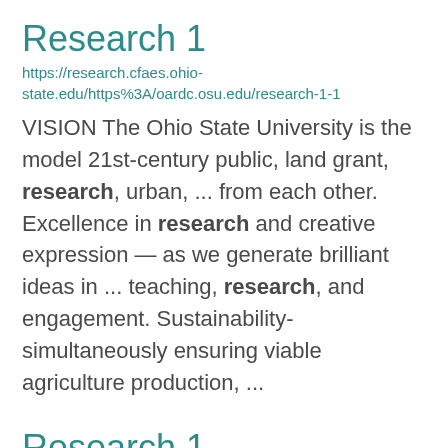Research 1
https://research.cfaes.ohio-state.edu/https%3A/oardc.osu.edu/research-1-1
VISION The Ohio State University is the model 21st-century public, land grant, research, urban, ... from each other. Excellence in research and creative expression — as we generate brilliant ideas in ... teaching, research, and engagement. Sustainability-simultaneously ensuring viable agriculture production, ...
Research 1
https://research.cfaes.ohio-